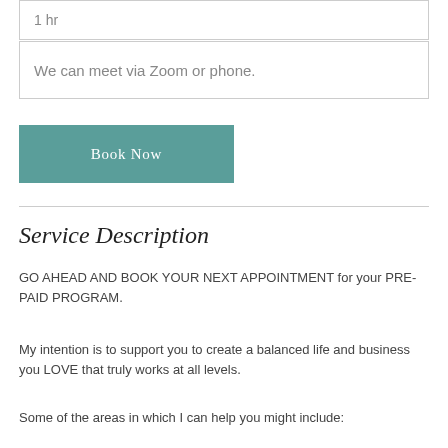1 hr
We can meet via Zoom or phone.
Book Now
Service Description
GO AHEAD AND BOOK YOUR NEXT APPOINTMENT for your PRE-PAID PROGRAM.
My intention is to support you to create a balanced life and business you LOVE that truly works at all levels.
Some of the areas in which I can help you might include: